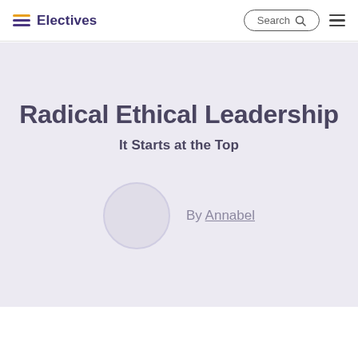Electives
Radical Ethical Leadership
It Starts at the Top
By Annabel